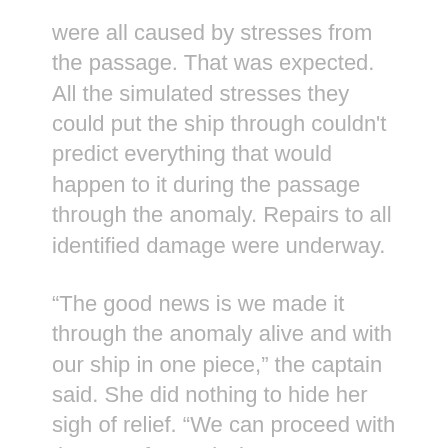were all caused by stresses from the passage. That was expected. All the simulated stresses they could put the ship through couldn't predict everything that would happen to it during the passage through the anomaly. Repairs to all identified damage were underway.
“The good news is we made it through the anomaly alive and with our ship in one piece,” the captain said. She did nothing to hide her sigh of relief. “We can proceed with the rest of our mission.”
She brushed her fingers on the control panel on her chair arm. The wall behind her blanked and displayed their mission objectives. There were three things the Harbinger was expected to do during their